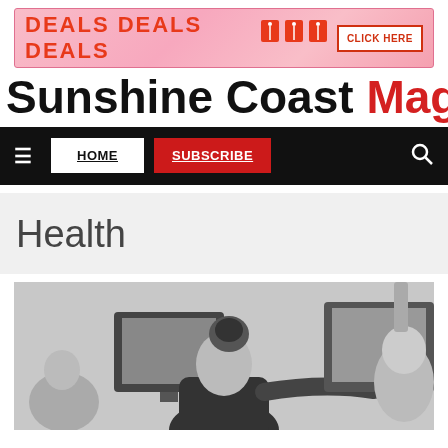[Figure (infographic): Advertisement banner with pink gradient background, 'DEALS DEALS DEALS' in red bold text, price tag icons, and 'CLICK HERE' button]
Sunshine Coast Magazine
HOME | SUBSCRIBE
Health
[Figure (photo): Black and white photograph of a woman with hair in a bun, reaching toward a computer monitor, with another person visible on the right side]